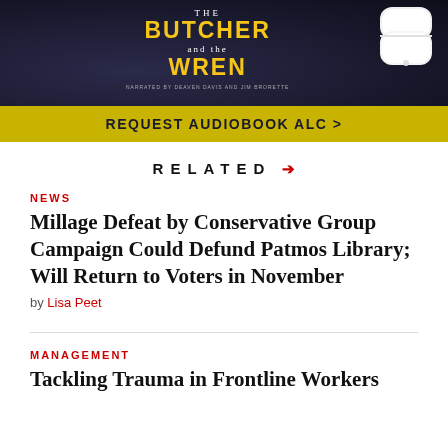[Figure (illustration): Advertisement banner for 'The Butcher and the Wren' audiobook with dark background, yellow title text, AirPods image, and yellow CTA bar reading 'REQUEST AUDIOBOOK ALC >']
RELATED →
NEWS
Millage Defeat by Conservative Group Campaign Could Defund Patmos Library; Will Return to Voters in November
by Lisa Peet
MANAGEMENT
Tackling Trauma in Frontline Workers